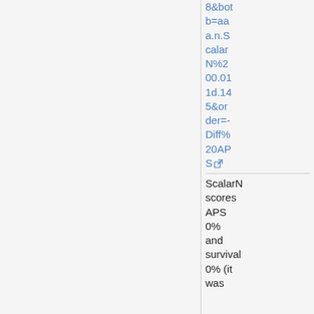8&bot b=aa a.n.Scalar N%200.011d.145&or der=-Diff%20APS [external link]
ScalarN scores APS 0% and survival 0% (it was